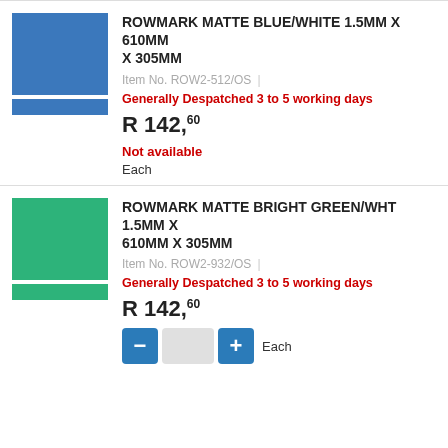[Figure (photo): Blue/white matte material swatch — large blue rectangle and smaller blue strip below]
ROWMARK MATTE BLUE/WHITE 1.5MM X 610MM X 305MM
Item No. ROW2-512/OS
Generally Despatched 3 to 5 working days
R 142,60
Not available
Each
[Figure (photo): Green/white matte material swatch — large green rectangle and smaller green strip below]
ROWMARK MATTE BRIGHT GREEN/WHT 1.5MM X 610MM X 305MM
Item No. ROW2-932/OS
Generally Despatched 3 to 5 working days
R 142,60
Each